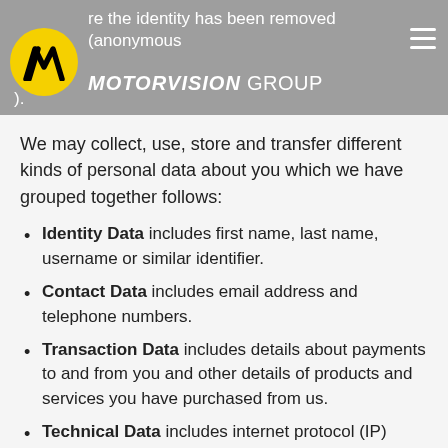re the identity has been removed (anonymous…) — MOTORVISION GROUP
We may collect, use, store and transfer different kinds of personal data about you which we have grouped together follows:
Identity Data includes first name, last name, username or similar identifier.
Contact Data includes email address and telephone numbers.
Transaction Data includes details about payments to and from you and other details of products and services you have purchased from us.
Technical Data includes internet protocol (IP) address, your login data, browser type and…